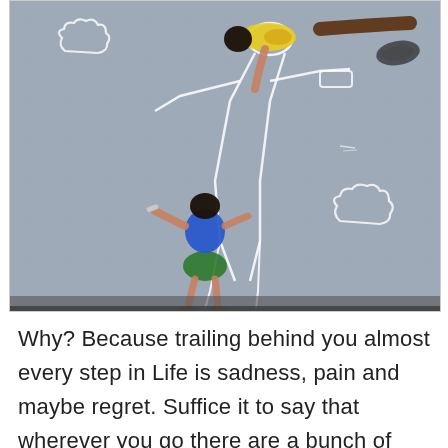[Figure (illustration): An illustration/painting viewed from above showing two children lying on a gray concrete or asphalt surface. One child wears a blue shirt and green shorts with dark hair, drawing chalk outlines on the ground (a body outline similar to a crime scene chalk outline, and cloud shapes). The other child wears a yellow shirt and brown pants stretched out horizontally. There are chalk-drawn clouds visible on the ground surface. The scene appears to be a commentary on innocence and loss.]
Why? Because trailing behind you almost every step in Life is sadness, pain and maybe regret. Suffice it to say that wherever you go there are a bunch of